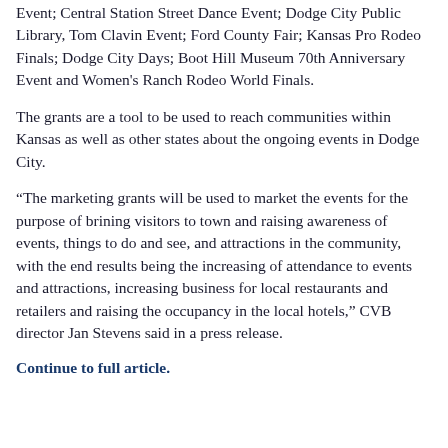Event; Central Station Street Dance Event; Dodge City Public Library, Tom Clavin Event; Ford County Fair; Kansas Pro Rodeo Finals; Dodge City Days; Boot Hill Museum 70th Anniversary Event and Women's Ranch Rodeo World Finals.
The grants are a tool to be used to reach communities within Kansas as well as other states about the ongoing events in Dodge City.
“The marketing grants will be used to market the events for the purpose of brining visitors to town and raising awareness of events, things to do and see, and attractions in the community, with the end results being the increasing of attendance to events and attractions, increasing business for local restaurants and retailers and raising the occupancy in the local hotels,” CVB director Jan Stevens said in a press release.
Continue to full article.